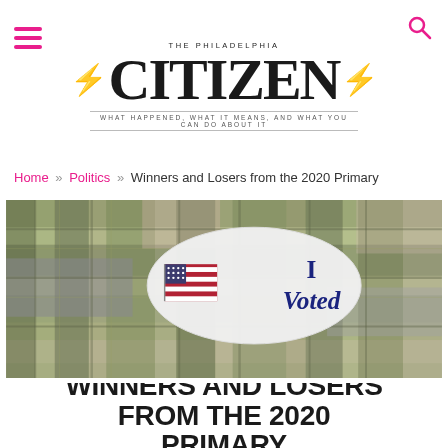THE PHILADELPHIA CITIZEN — WHAT HAPPENED, WHAT IT MEANS, AND WHAT YOU CAN DO ABOUT IT
Home » Politics » Winners and Losers from the 2020 Primary
[Figure (photo): An 'I Voted' sticker with American flag design placed on a plaid fabric background in muted greens, grays, and pinks]
WINNERS AND LOSERS FROM THE 2020 PRIMARY